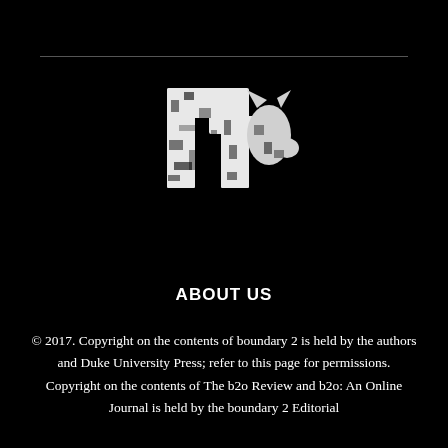[Figure (logo): b2o journal logo — white distressed letterforms on black background]
ABOUT US
© 2017. Copyright on the contents of boundary 2 is held by the authors and Duke University Press; refer to this page for permissions. Copyright on the contents of The b2o Review and b2o: An Online Journal is held by the boundary 2 Editorial